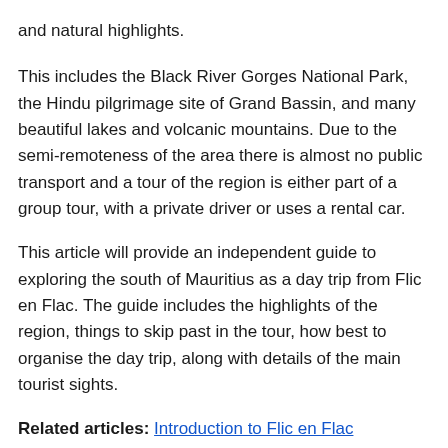and natural highlights.
This includes the Black River Gorges National Park, the Hindu pilgrimage site of Grand Bassin, and many beautiful lakes and volcanic mountains. Due to the semi-remoteness of the area there is almost no public transport and a tour of the region is either part of a group tour, with a private driver or uses a rental car.
This article will provide an independent guide to exploring the south of Mauritius as a day trip from Flic en Flac. The guide includes the highlights of the region, things to skip past in the tour, how best to organise the day trip, along with details of the main tourist sights.
Related articles: Introduction to Flic en Flac